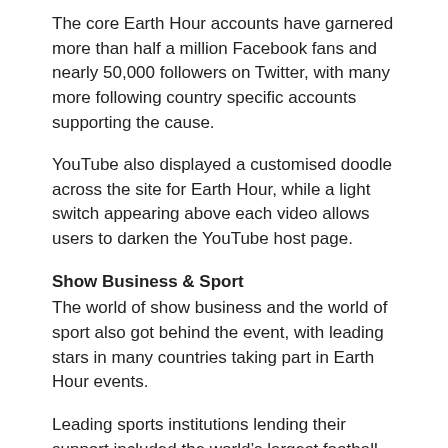The core Earth Hour accounts have garnered more than half a million Facebook fans and nearly 50,000 followers on Twitter, with many more following country specific accounts supporting the cause.
YouTube also displayed a customised doodle across the site for Earth Hour, while a light switch appearing above each video allows users to darken the YouTube host page.
Show Business & Sport
The world of show business and the world of sport also got behind the event, with leading stars in many countries taking part in Earth Hour events.
Leading sports institutions lending their support included the world's largest football club, Real Madrid, London's Olympic organising body and the European football federation UEFA.